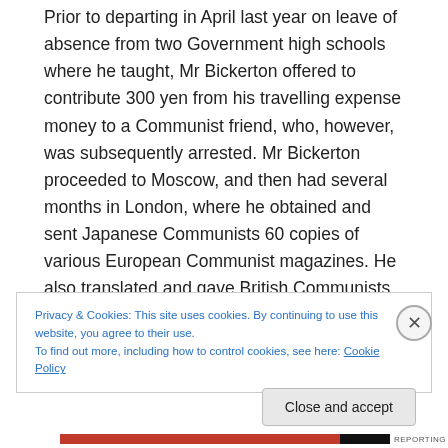Prior to departing in April last year on leave of absence from two Government high schools where he taught, Mr Bickerton offered to contribute 300 yen from his travelling expense money to a Communist friend, who, however, was subsequently arrested. Mr Bickerton proceeded to Moscow, and then had several months in London, where he obtained and sent Japanese Communists 60 copies of various European Communist magazines. He also translated and gave British Communists articles published by the Japanese “Red Flag.”
Privacy & Cookies: This site uses cookies. By continuing to use this website, you agree to their use.
To find out more, including how to control cookies, see here: Cookie Policy